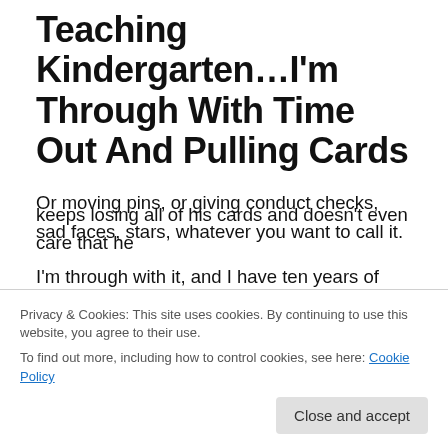Teaching Kindergarten…I'm Through With Time Out And Pulling Cards
Or moving pins, or giving conduct checks, sad faces, stars, whatever you want to call it.
I'm through with it, and I have ten years of reasons to share with all of you cringing teachers right now! I know what you're thinking. Her class is probably a circus. It's a zoo. She's crazy. She must be tired.
keeps losing all of his cards and doesn't even care that he
Privacy & Cookies: This site uses cookies. By continuing to use this website, you agree to their use.
To find out more, including how to control cookies, see here: Cookie Policy
Close and accept